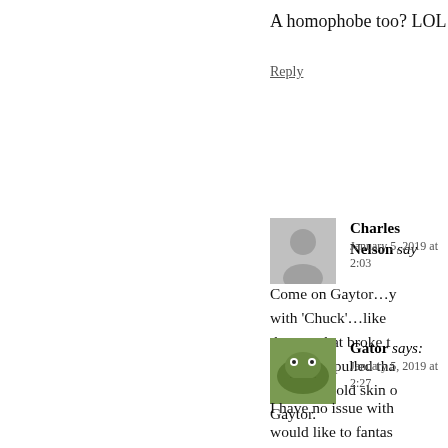A homophobe too? LOL
Reply
Charles Nelson says: January 5, 2019 at 2:03
Come on Gaytor…y with 'Chuck'…like the guy that broke t Once you pulled tha that tough old skin c Gaytor.
[Figure (photo): Gray silhouette avatar placeholder for Charles Nelson]
Gator says: January 5, 2019 at 2:27
I have no issue with would like to fantas
[Figure (photo): Green cartoon gator avatar for user Gator]